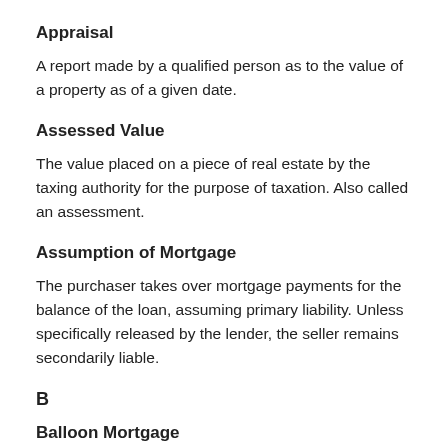Appraisal
A report made by a qualified person as to the value of a property as of a given date.
Assessed Value
The value placed on a piece of real estate by the taxing authority for the purpose of taxation. Also called an assessment.
Assumption of Mortgage
The purchaser takes over mortgage payments for the balance of the loan, assuming primary liability. Unless specifically released by the lender, the seller remains secondarily liable.
B
Balloon Mortgage
A mortgage with periodic payments that do not fully